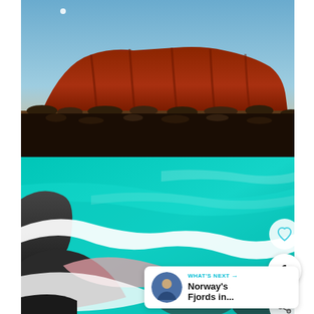[Figure (photo): Uluru (Ayers Rock) at dusk with a faint moon in a blue-to-orange gradient sky, red sandstone monolith rising above scrubby desert vegetation]
[Figure (photo): Aerial view of a turquoise and pink salt lake with a white salt shore curving through dark rocky terrain]
1
WHAT'S NEXT → Norway's Fjords in...